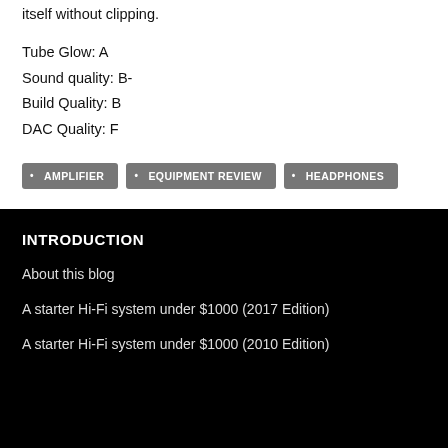itself without clipping.
Tube Glow: A
Sound quality: B-
Build Quality: B
DAC Quality: F
AMPLIFIER
EQUIPMENT REVIEW
HEADPHONES
INTRODUCTION
About this blog
A starter Hi-Fi system under $1000 (2017 Edition)
A starter Hi-Fi system under $1000 (2010 Edition)